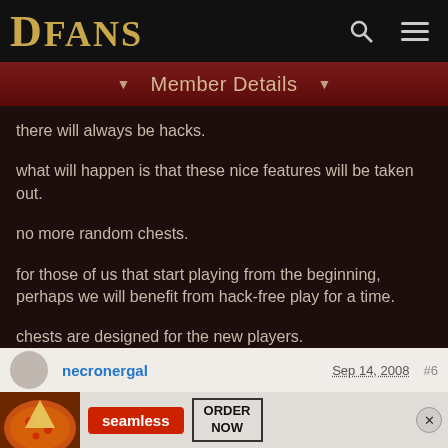DFANS
Member Details
there will always be hacks.
what will happen is that these nice features will be taken out.
no more random chests.
for those of us that start playing from the beginning, perhaps we will benefit from hack-free play for a time.
chests are designed for the new players.
the best items should still come from monster kills.
necronergal
Sep 14, 2008
[Figure (screenshot): Advertisement banner for Seamless food delivery with pizza image, Seamless logo, and ORDER NOW button]